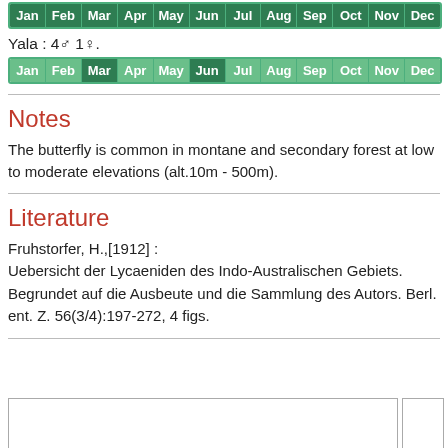[Figure (other): Month activity grid row (top, partially visible) with all months colored green]
Yala : 4♂ 1♀.
[Figure (other): Month activity grid for Yala with Mar and Jun highlighted darker green]
Notes
The butterfly is common in montane and secondary forest at low to moderate elevations (alt.10m - 500m).
Literature
Fruhstorfer, H.,[1912] :
Uebersicht der Lycaeniden des Indo-Australischen Gebiets. Begrundet auf die Ausbeute und die Sammlung des Autors. Berl. ent. Z. 56(3/4):197-272, 4 figs.
[Figure (photo): Empty image box at bottom of page]